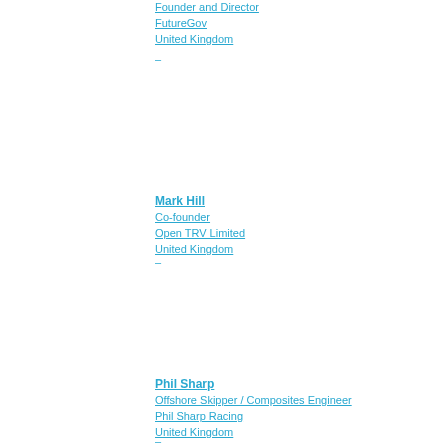Founder and Director
FutureGov
United Kingdom
–
Mark Hill
Co-founder
Open TRV Limited
United Kingdom
–
Phil Sharp
Offshore Skipper / Composites Engineer
Phil Sharp Racing
United Kingdom
–